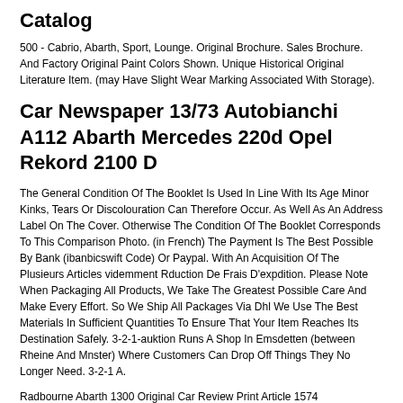Catalog
500 - Cabrio, Abarth, Sport, Lounge. Original Brochure. Sales Brochure. And Factory Original Paint Colors Shown. Unique Historical Original Literature Item. (may Have Slight Wear Marking Associated With Storage).
Car Newspaper 13/73 Autobianchi A112 Abarth Mercedes 220d Opel Rekord 2100 D
The General Condition Of The Booklet Is Used In Line With Its Age Minor Kinks, Tears Or Discolouration Can Therefore Occur. As Well As An Address Label On The Cover. Otherwise The Condition Of The Booklet Corresponds To This Comparison Photo. (in French) The Payment Is The Best Possible By Bank (ibanbicswift Code) Or Paypal. With An Acquisition Of The Plusieurs Articles videmment Rduction De Frais D'expdition. Please Note When Packaging All Products, We Take The Greatest Possible Care And Make Every Effort. So We Ship All Packages Via Dhl We Use The Best Materials In Sufficient Quantities To Ensure That Your Item Reaches Its Destination Safely. 3-2-1-auktion Runs A Shop In Emsdetten (between Rheine And Mnster) Where Customers Can Drop Off Things They No Longer Need. 3-2-1 A.
Radbourne Abarth 1300 Original Car Review Print Article 1574